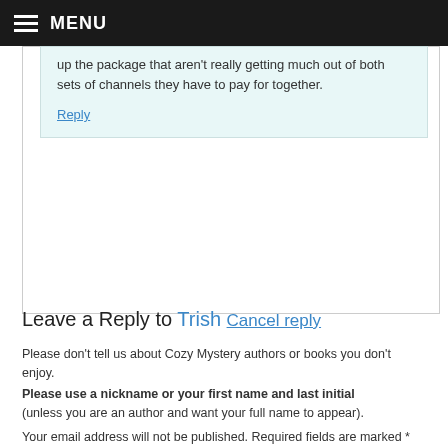MENU
up the package that aren't really getting much out of both sets of channels they have to pay for together.
Reply
Leave a Reply to Trish Cancel reply
Please don't tell us about Cozy Mystery authors or books you don't enjoy.
Please use a nickname or your first name and last initial (unless you are an author and want your full name to appear).
Your email address will not be published. Required fields are marked *
Comment *